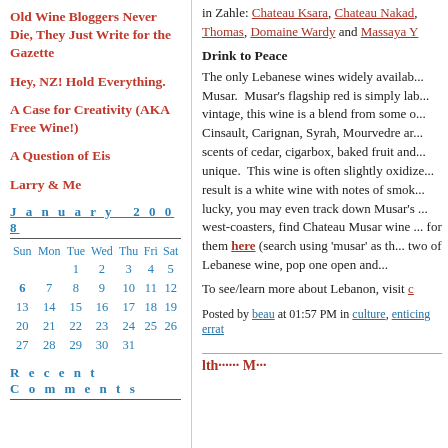Old Wine Bloggers Never Die, They Just Write for the Gazette
Hey, NZ! Hold Everything.
A Case for Creativity (AKA Free Wine!)
A Question of Eis
Larry & Me
January 2008
| Sun | Mon | Tue | Wed | Thu | Fri | Sat |
| --- | --- | --- | --- | --- | --- | --- |
|  |  | 1 | 2 | 3 | 4 | 5 |
| 6 | 7 | 8 | 9 | 10 | 11 | 12 |
| 13 | 14 | 15 | 16 | 17 | 18 | 19 |
| 20 | 21 | 22 | 23 | 24 | 25 | 26 |
| 27 | 28 | 29 | 30 | 31 |  |  |
Recent Comments
in Zahle: Chateau Ksara, Chateau Nakad, Thomas, Domaine Wardy and Massaya
Drink to Peace
The only Lebanese wines widely available are those from Chateau Musar. Musar's flagship red is simply labeled with the vintage, this wine is a blend from some of the following grapes: Cinsault, Carignan, Syrah, Mourvedre and Cabernet. With scents of cedar, cigarbox, baked fruit and smoke the wine is unique. This wine is often slightly oxidized in character…the result is a white wine with notes of smoke and honey. If you're lucky, you may even track down Musar's rose. For east and west-coasters, find Chateau Musar wine at retail by searching for them here (search using 'musar' as the term). If you grab two of Lebanese wine, pop one open and...
To see/learn more about Lebanon, visit c...
Posted by beau at 01:57 PM in culture, enticing errat...